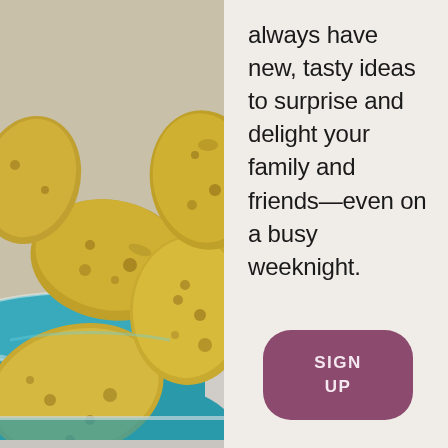[Figure (photo): Close-up photo of potatoes in a teal/turquoise colander, with a light grey background visible below. The potatoes are golden-yellow with brown spots, piled in the blue strainer.]
always have new, tasty ideas to surprise and delight your family and friends—even on a busy weeknight.
SIGN UP